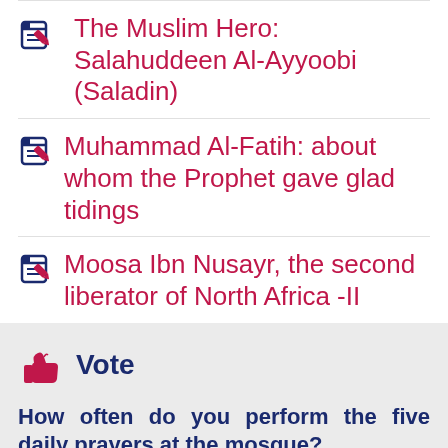The Muslim Hero: Salahuddeen Al-Ayyoobi (Saladin)
Muhammad Al-Fatih: about whom the Prophet gave glad tidings
Moosa Ibn Nusayr, the second liberator of North Africa -II
Vote
How often do you perform the five daily prayers at the mosque?
Always
Most of the time
Sometimes
Never